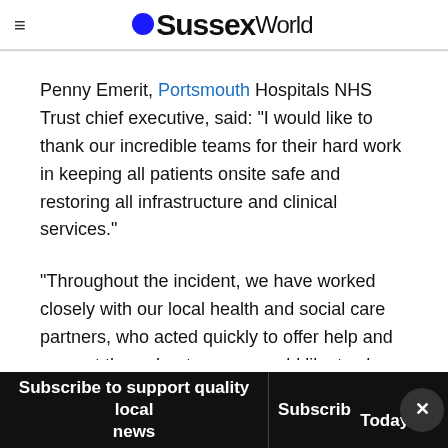OSussexWorld
Penny Emerit, Portsmouth Hospitals NHS Trust chief executive, said: "I would like to thank our incredible teams for their hard work in keeping all patients onsite safe and restoring all infrastructure and clinical services."
"Throughout the incident, we have worked closely with our local health and social care partners, who acted quickly to offer help and support throughout, so we would like to share
Subscribe to support quality local news | Subscribe Today